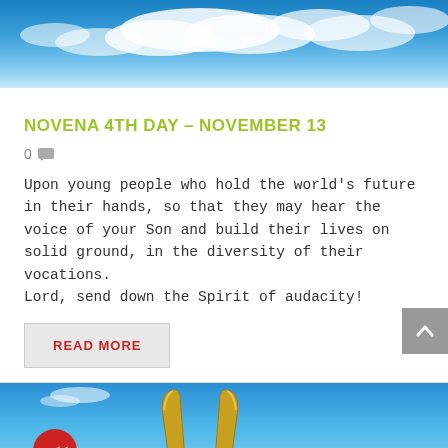[Figure (photo): Blue sky with white clouds — top banner image]
NOVENA 4TH DAY – NOVEMBER 13
0 💬
Upon young people who hold the world's future in their hands, so that they may hear the voice of your Son and build their lives on solid ground, in the diversity of their vocations.
Lord, send down the Spirit of audacity!
READ MORE
[Figure (photo): Blue sky background with golden trident/instrument and a red circular badge with double-check icon in bottom-left corner]